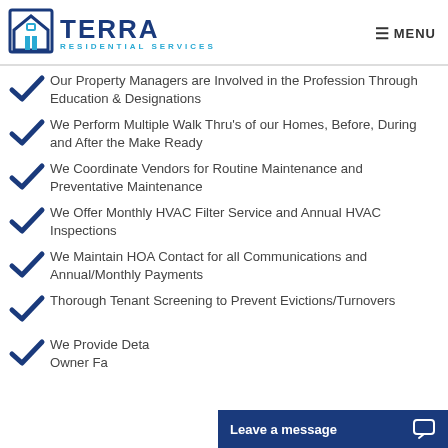TERRA RESIDENTIAL SERVICES — MENU
Our Property Managers are Involved in the Profession Through Education & Designations
We Perform Multiple Walk Thru's of our Homes, Before, During and After the Make Ready
We Coordinate Vendors for Routine Maintenance and Preventative Maintenance
We Offer Monthly HVAC Filter Service and Annual HVAC Inspections
We Maintain HOA Contact for all Communications and Annual/Monthly Payments
Thorough Tenant Screening to Prevent Evictions/Turnovers
We Provide Detailed Owner Reporting...